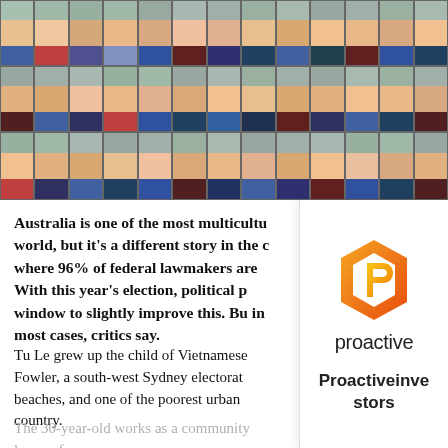[Figure (photo): Grid of portrait photos of Australian federal lawmakers/politicians, arranged in 3 rows of approximately 13 photos each, shown against a teal/green background.]
Australia is one of the most multicultu world, but it's a different story in the c where 96% of federal lawmakers are With this year's election, political p window to slightly improve this. Bu in most cases, critics say.
Tu Le grew up the child of Vietnamese Fowler, a south-west Sydney electorat beaches, and one of the poorest urban country.
[Figure (logo): Proactive Investors logo — orange and yellow hexagonal P-shaped icon above the word 'proactive' in dark text, with 'Proactiveinvestors' in bold below.]
The 30-year-old works as a community lawyer for